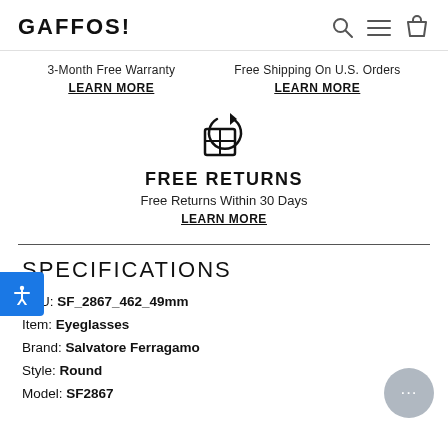GAFFOS!
3-Month Free Warranty
LEARN MORE
Free Shipping On U.S. Orders
LEARN MORE
[Figure (illustration): Return/shipping box icon with circular arrow]
FREE RETURNS
Free Returns Within 30 Days
LEARN MORE
SPECIFICATIONS
SKU: SF_2867_462_49mm
Item: Eyeglasses
Brand: Salvatore Ferragamo
Style: Round
Model: SF2867